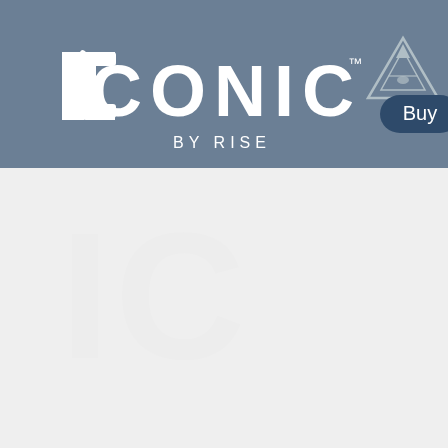[Figure (logo): ICONIC BY RISE logo in white on steel-blue header background, with a triangular mountain/pyramid brand mark in the top-right corner and a dark blue 'Buy' button pill shape.]